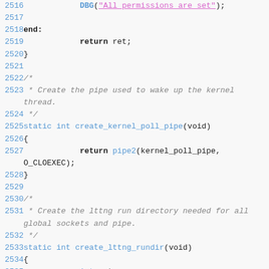[Figure (screenshot): Source code listing showing C code lines 2516-2537 with syntax highlighting. Line numbers in blue, keywords bold, function names in blue, string literals in pink/magenta with underline, comments in grey italic.]